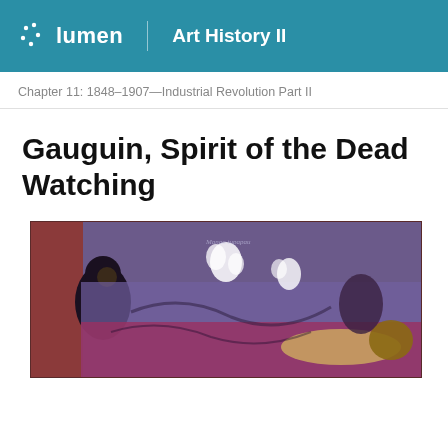lumen  Art History II
Chapter 11: 1848–1907—Industrial Revolution Part II
Gauguin, Spirit of the Dead Watching
[Figure (photo): A cropped horizontal painting by Gauguin — Spirit of the Dead Watching — showing a dark-cloaked figure on the left and a reclining figure on a purple-and-red background with white floral elements.]